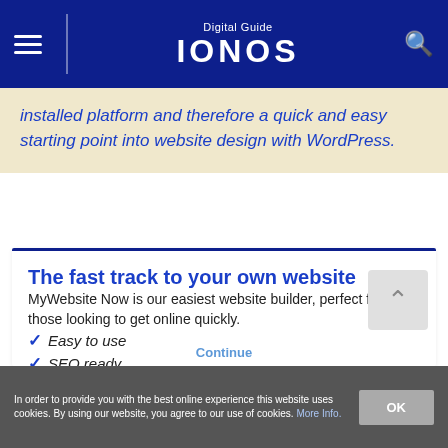Digital Guide IONOS
installed platform and therefore a quick and easy starting point into website design with WordPress.
The fast track to your own website
MyWebsite Now is our easiest website builder, perfect for those looking to get online quickly.
Easy to use
SEO ready
In order to provide you with the best online experience this website uses cookies. By using our website, you agree to our use of cookies. More Info.